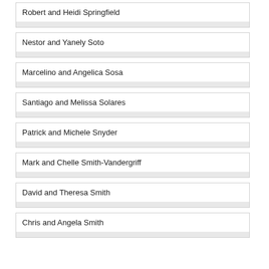Robert and Heidi Springfield
Nestor and Yanely Soto
Marcelino and Angelica Sosa
Santiago and Melissa Solares
Patrick and Michele Snyder
Mark and Chelle Smith-Vandergriff
David and Theresa Smith
Chris and Angela Smith